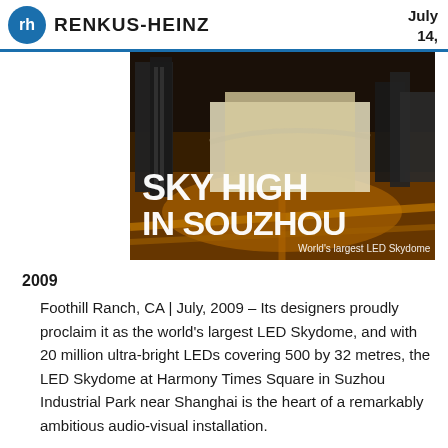RENKUS-HEINZ   July 14,
[Figure (photo): Aerial architectural rendering of Harmony Times Square in Suzhou with overlay text 'SKY HIGH IN SOUZHOU – World's largest LED Skydome']
2009
Foothill Ranch, CA | July, 2009 – Its designers proudly proclaim it as the world's largest LED Skydome, and with 20 million ultra-bright LEDs covering 500 by 32 metres, the LED Skydome at Harmony Times Square in Suzhou Industrial Park near Shanghai is the heart of a remarkably ambitious audio-visual installation.